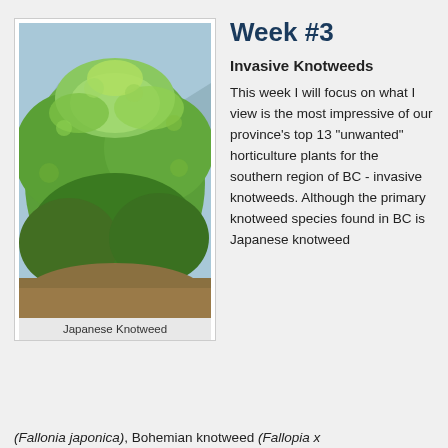Week #3
[Figure (photo): A large dense bush of Japanese Knotweed with broad green leaves, photographed outdoors with mountains in the background.]
Japanese Knotweed
Invasive Knotweeds
This week I will focus on what I view is the most impressive of our province’s top 13 “unwanted” horticulture plants for the southern region of BC - invasive knotweeds. Although the primary knotweed species found in BC is Japanese knotweed
(Fallonia japonica), Bohemian knotweed (Fallopia x